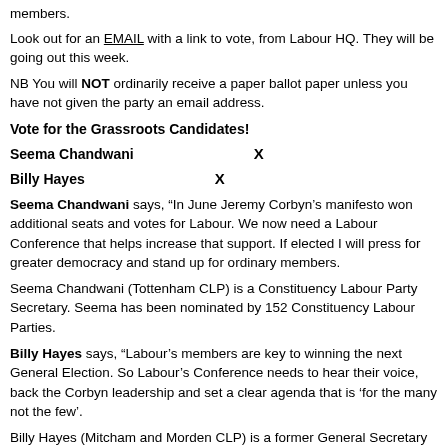members.
Look out for an EMAIL with a link to vote, from Labour HQ. They will be going out this week.
NB You will NOT ordinarily receive a paper ballot paper unless you have not given the party an email address.
Vote for the Grassroots Candidates!
Seema Chandwani    X
Billy Hayes    X
Seema Chandwani says, “In June Jeremy Corbyn’s manifesto won additional seats and votes for Labour. We now need a Labour Conference that helps increase that support. If elected I will press for greater democracy and stand up for ordinary members.
Seema Chandwani (Tottenham CLP) is a Constituency Labour Party Secretary. Seema has been nominated by 152 Constituency Labour Parties.
Billy Hayes says, “Labour’s members are key to winning the next General Election. So Labour’s Conference needs to hear their voice, back the Corbyn leadership and set a clear agenda that is ‘for the many not the few’.
Billy Hayes (Mitcham and Morden CLP) is a former General Secretary of the Communication Workers Union. Billy has been nominated by 154 Constituency Labour Parties.
Campaigning for a Labour Victory...